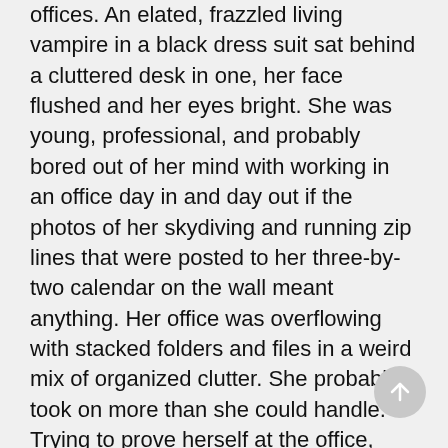offices. An elated, frazzled living vampire in a black dress suit sat behind a cluttered desk in one, her face flushed and her eyes bright. She was young, professional, and probably bored out of her mind with working in an office day in and day out if the photos of her skydiving and running zip lines that were posted to her three-by-two calendar on the wall meant anything. Her office was overflowing with stacked folders and files in a weird mix of organized clutter. She probably took on more than she could handle. Trying to prove herself at the office, maybe as she clearly liked doing on her weekends?
I'd guess her human heritage was Hispanic, with her long dark hair pulled back in a pristine clip and her dark—